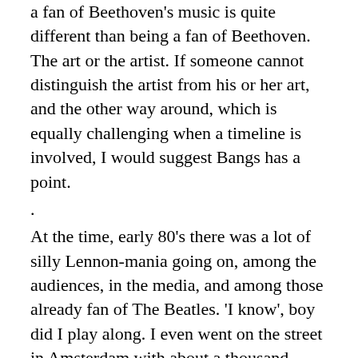a fan of Beethoven's music is quite different than being a fan of Beethoven. The art or the artist. If someone cannot distinguish the artist from his or her art, and the other way around, which is equally challenging when a timeline is involved, I would suggest Bangs has a point.
.
At the time, early 80's there was a lot of silly Lennon-mania going on, among the audiences, in the media, and among those already fan of The Beatles. 'I know', boy did I play along. I even went on the street in Amsterdam with about a thousand people for a silent-walk with candles in our hands, in memory of John's peace efforts, in the days after his killing